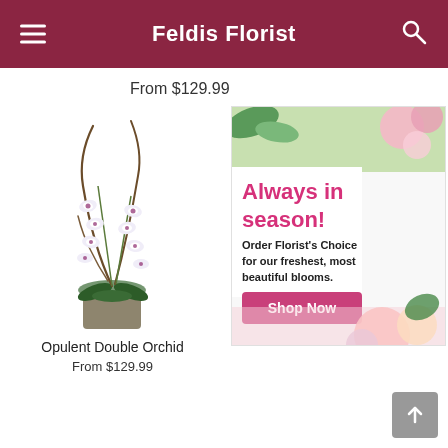Feldis Florist
From $129.99
[Figure (photo): Opulent Double Orchid plant in a square stone pot with white orchid blooms and decorative curved branches]
Opulent Double Orchid
From $129.99
[Figure (infographic): Always in season! advertisement banner with pink flowers. Text: Order Florist's Choice for our freshest, most beautiful blooms. Shop Now button.]